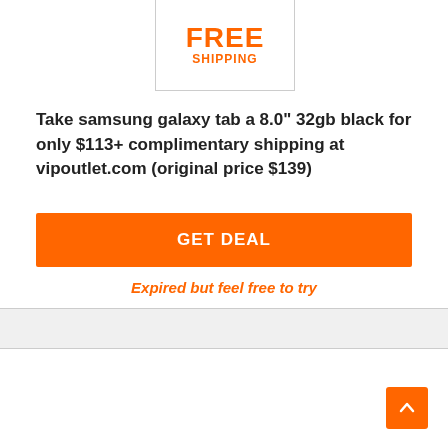[Figure (other): Free shipping badge — box with 'FREE' in large orange text and 'SHIPPING' below in smaller orange bold text]
Take samsung galaxy tab a 8.0" 32gb black for only $113+ complimentary shipping at vipoutlet.com (original price $139)
GET DEAL
Expired but feel free to try
NOVEMBER 19, 2020 11:59 PM